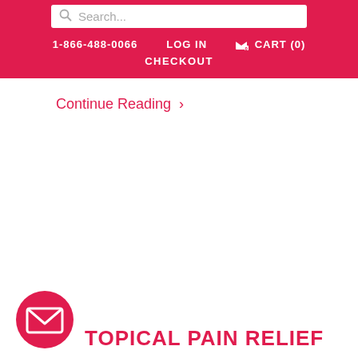Search...  1-866-488-0066  LOG IN  CART (0)  CHECKOUT
Continue Reading ›
[Figure (illustration): Red circular icon with white envelope/mail symbol]
TOPICAL PAIN RELIEF